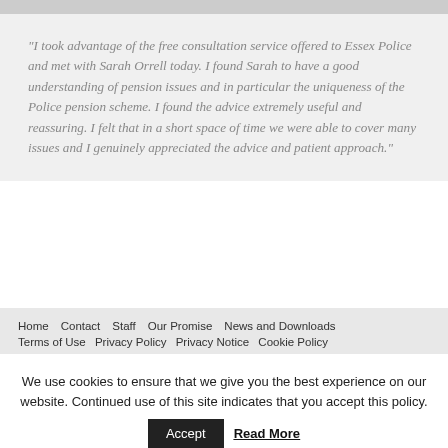[Figure (photo): Top image strip, partially cropped]
“I took advantage of the free consultation service offered to Essex Police and met with Sarah Orrell today. I found Sarah to have a good understanding of pension issues and in particular the uniqueness of the Police pension scheme. I found the advice extremely useful and reassuring. I felt that in a short space of time we were able to cover many issues and I genuinely appreciated the advice and patient approach.”
Home  Contact  Staff  Our Promise  News and Downloads  Terms of Use  Privacy Policy  Privacy Notice  Cookie Policy
We use cookies to ensure that we give you the best experience on our website. Continued use of this site indicates that you accept this policy.  Accept  Read More